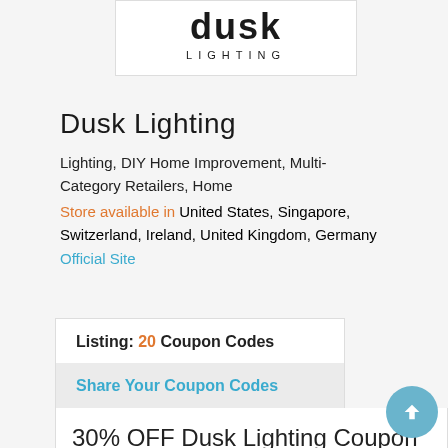[Figure (logo): Dusk Lighting logo with stylized DUSK text and LIGHTING underneath]
Dusk Lighting
Lighting, DIY Home Improvement, Multi-Category Retailers, Home
Store available in United States, Singapore, Switzerland, Ireland, United Kingdom, Germany
Official Site
Listing: 20 Coupon Codes
Share Your Coupon Codes
30% OFF Dusk Lighting Coupon Code | Discount Code 2022